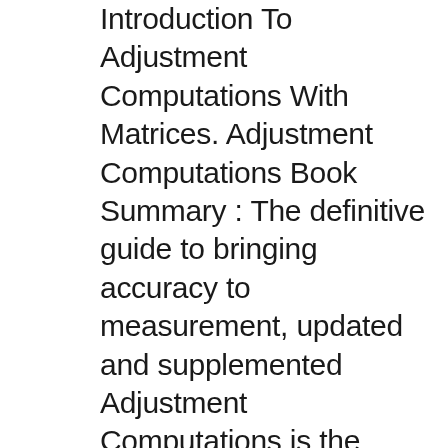Introduction To Adjustment Computations With Matrices. Adjustment Computations Book Summary : The definitive guide to bringing accuracy to measurement, updated and supplemented Adjustment Computations is the classic textbook for spatial information analysis and adjustment computations, providing clear, easy-to-understand instruction backed by real-world practicality. From the basic terms and fundamentals of errors to specific adjustment, Buy the Paperback Book Solutions Manual for Adjustment Computations: Statistics and Least Squares in Surveying and GIS by Paul R. Wolf at Indigo.ca, Canada's largest bookstore. Free shipping and